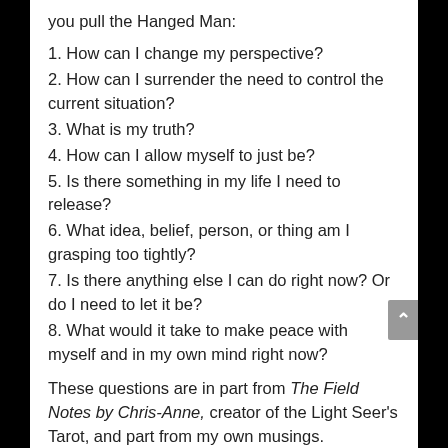you pull the Hanged Man:
1. How can I change my perspective?
2. How can I surrender the need to control the current situation?
3. What is my truth?
4. How can I allow myself to just be?
5. Is there something in my life I need to release?
6. What idea, belief, person, or thing am I grasping too tightly?
7. Is there anything else I can do right now? Or do I need to let it be?
8. What would it take to make peace with myself and in my own mind right now?
These questions are in part from The Field Notes by Chris-Anne, creator of the Light Seer's Tarot, and part from my own musings.